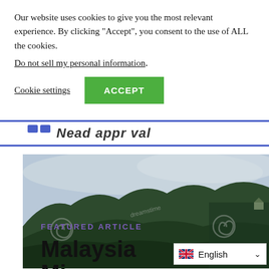Our website uses cookies to give you the most relevant experience. By clicking “Accept”, you consent to the use of ALL the cookies.
Do not sell my personal information.
Cookie settings
ACCEPT
[Figure (screenshot): Partial page header bar with blue icon and bold dark italic text partially visible, overlaid on white background]
[Figure (photo): Landscape photo of a green forested hillside with clouds and mist at the top, stock photo watermark spirals visible, partial view]
FEATURED ARTICLE
Malaysia
English